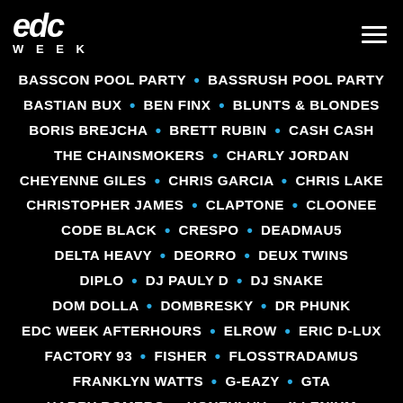[Figure (logo): EDC WEEK logo in white on black background]
BASSCON POOL PARTY • BASSRUSH POOL PARTY
BASTIAN BUX • BEN FINX • BLUNTS & BLONDES
BORIS BREJCHA • BRETT RUBIN • CASH CASH
THE CHAINSMOKERS • CHARLY JORDAN
CHEYENNE GILES • CHRIS GARCIA • CHRIS LAKE
CHRISTOPHER JAMES • CLAPTONE • CLOONEE
CODE BLACK • CRESPO • DEADMAU5
DELTA HEAVY • DEORRO • DEUX TWINS
DIPLO • DJ PAULY D • DJ SNAKE
DOM DOLLA • DOMBRESKY • DR PHUNK
EDC WEEK AFTERHOURS • ELROW • ERIC D-LUX
FACTORY 93 • FISHER • FLOSSTRADAMUS
FRANKLYN WATTS • G-EAZY • GTA
HARRY ROMERO • HONEYLUV • ILLENIUM
IMANU • IÑIGO VONTIER • JAUZ